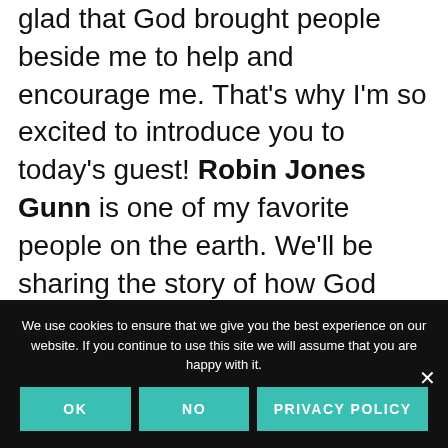glad that God brought people beside me to help and encourage me. That's why I'm so excited to introduce you to today's guest! Robin Jones Gunn is one of my favorite people on the earth. We'll be sharing the story of how God brought us together and connected us in amazing ways. I love to be able to give you a glimpse into our friendship that has really transformed me over the years.
We use cookies to ensure that we give you the best experience on our website. If you continue to use this site we will assume that you are happy with it.
OK  NO  PRIVACY POLICY